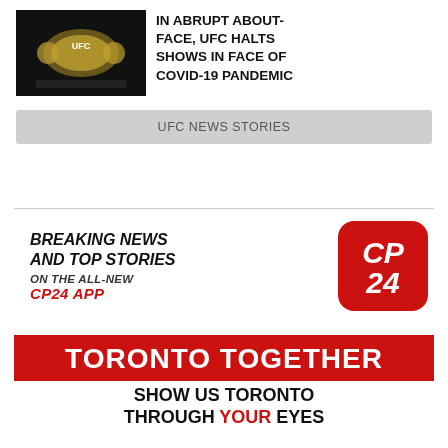[Figure (photo): UFC championship belt held up against dark background]
IN ABRUPT ABOUT-FACE, UFC HALTS SHOWS IN FACE OF COVID-19 PANDEMIC
UFC NEWS STORIES
[Figure (infographic): CP24 app advertisement: BREAKING NEWS AND TOP STORIES ON THE ALL-NEW CP24 APP with CP24 logo]
[Figure (infographic): Toronto Together banner: SHOW US TORONTO THROUGH YOUR EYES]